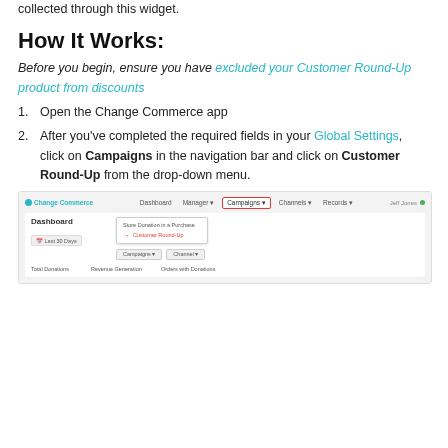collected through this widget.
How It Works:
Before you begin, ensure you have excluded your Customer Round-Up product from discounts
Open the Change Commerce app
After you've completed the required fields in your Global Settings, click on Campaigns in the navigation bar and click on Customer Round-Up from the drop-down menu.
[Figure (screenshot): Screenshot of Change Commerce app navigation bar with Campaigns menu open, showing 'Store Donation in a Purchase' and 'Customer Round-Up' options highlighted]